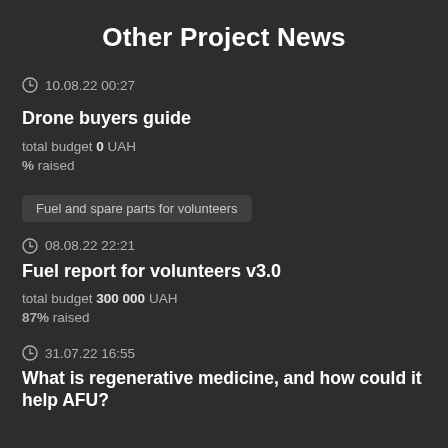Other Project News
10.08.22 00:27
Drone buyers guide
total budget 0 UAH
% raised
Fuel and spare parts for volunteers
08.08.22 22:21
Fuel report for volunteers v3.0
total budget 300 000 UAH
87% raised
31.07.22 16:55
What is regenerative medicine, and how could it help AFU?